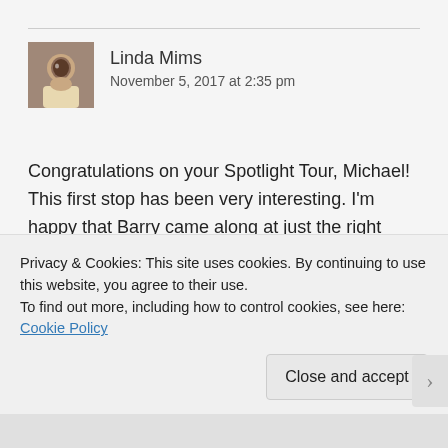Linda Mims
November 5, 2017 at 2:35 pm
Congratulations on your Spotlight Tour, Michael! This first stop has been very interesting. I'm happy that Barry came along at just the right time, though I don't believe you'd have given up. I look forward to reading There Is A Reaper. Great job hosting, Shirley!
Liked by 2 people
Privacy & Cookies: This site uses cookies. By continuing to use this website, you agree to their use.
To find out more, including how to control cookies, see here: Cookie Policy
Close and accept